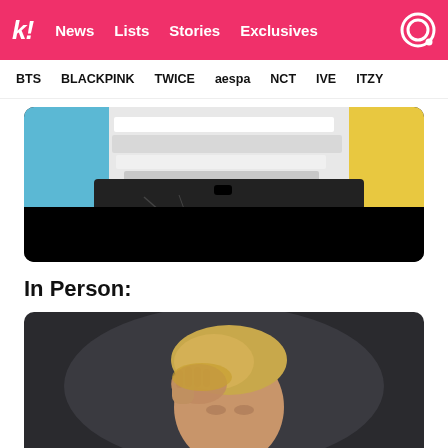k! News Lists Stories Exclusives
BTS BLACKPINK TWICE aespa NCT IVE ITZY
[Figure (photo): Close-up photo of folded white fabric/clothing against blue and yellow background, mostly dark at the bottom]
In Person:
[Figure (photo): Person with blonde hair raising their hand to their head, photographed against dark background]